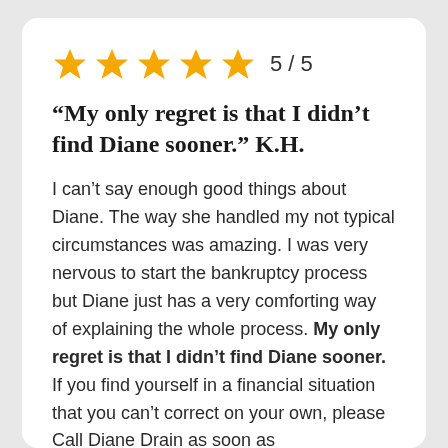[Figure (other): Five gold star rating icons with text '5 / 5']
“My only regret is that I didn’t find Diane sooner.” K.H.
I can’t say enough good things about Diane. The way she handled my not typical circumstances was amazing. I was very nervous to start the bankruptcy process but Diane just has a very comforting way of explaining the whole process. My only regret is that I didn’t find Diane sooner. If you find yourself in a financial situation that you can’t correct on your own, please Call Diane Drain as soon as possible.